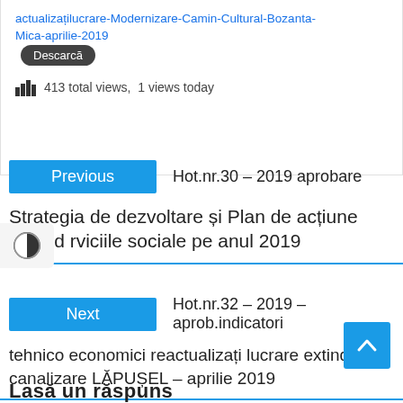actualizațilucrare-Modernizare-Camin-Cultural-Bozanta-Mica-aprilie-2019  Descarcă
413 total views,  1 views today
Previous   Hot.nr.30 – 2019 aprobare  Strategia de dezvoltare și Plan de acțiune privind rviciile sociale pe anul 2019
Next   Hot.nr.32 – 2019 – aprob.indicatori tehnico economici reactualizați lucrare extindere canalizare LĂPUȘEL – aprilie 2019